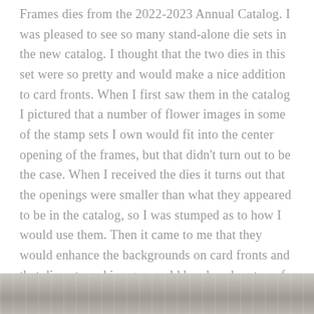Frames dies from the 2022-2023 Annual Catalog. I was pleased to see so many stand-alone die sets in the new catalog. I thought that the two dies in this set were so pretty and would make a nice addition to card fronts. When I first saw them in the catalog I pictured that a number of flower images in some of the stamp sets I own would fit into the center opening of the frames, but that didn't turn out to be the case. When I received the dies it turns out that the openings were smaller than what they appeared to be in the catalog, so I was stumped as to how I would use them. Then it came to me that they would enhance the backgrounds on card fronts and that die cuts and images could be placed on top of the frames and voila! It worked like charm and I was so happy with the results of the two cards shown here.
[Figure (photo): Bottom strip showing a partial image, appearing to be a photograph of cards or crafting materials, mostly cut off at the bottom of the page.]